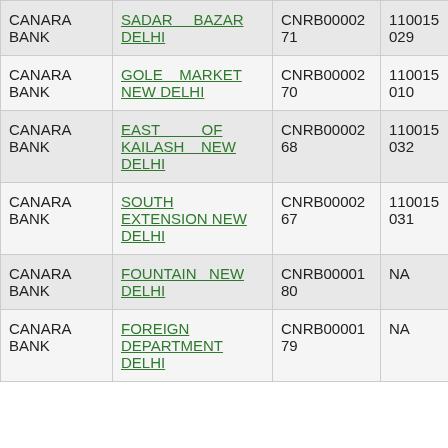| CANARA BANK | SADAR BAZAR DELHI | CNRB0000271 | 110015029 |
| CANARA BANK | GOLE MARKET NEW DELHI | CNRB0000270 | 110015010 |
| CANARA BANK | EAST OF KAILASH NEW DELHI | CNRB0000268 | 110015032 |
| CANARA BANK | SOUTH EXTENSION NEW DELHI | CNRB0000267 | 110015031 |
| CANARA BANK | FOUNTAIN NEW DELHI | CNRB0000180 | NA |
| CANARA BANK | FOREIGN DEPARTMENT DELHI | CNRB0000179 | NA |